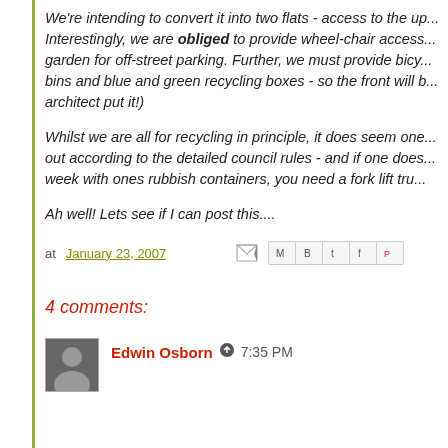We're intending to convert it into two flats - access to the up... Interestingly, we are obliged to provide wheel-chair access... garden for off-street parking. Further, we must provide bicy... bins and blue and green recycling boxes - so the front will b... architect put it!)
Whilst we are all for recycling in principle, it does seem one... out according to the detailed council rules - and if one does... week with ones rubbish containers, you need a fork lift tru...
Ah well! Lets see if I can post this....
at January 23, 2007
4 comments:
Edwin Osborn  7:35 PM